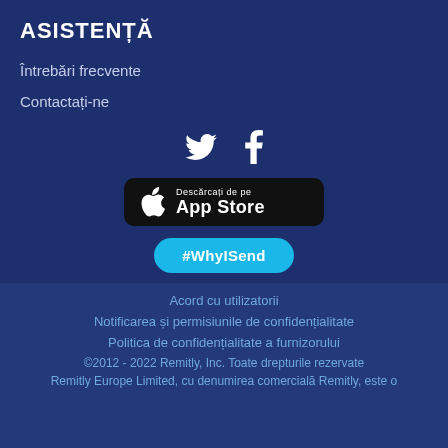ASISTENȚĂ
Întrebări frecvente
Contactați-ne
[Figure (illustration): Twitter and Facebook social media icons in white on dark blue background]
[Figure (illustration): Download on the App Store button - black rounded rectangle with Apple logo and text 'Descărcați de pe App Store']
[Figure (illustration): #WhyISend button - cyan rounded pill button]
Acord cu utilizatorii
Notificarea și permisiunile de confidențialitate
Politica de confidențialitate a furnizorului
©2012 - 2022 Remitly, Inc. Toate drepturile rezervate
Remitly Europe Limited, cu denumirea comercială Remitly, este o